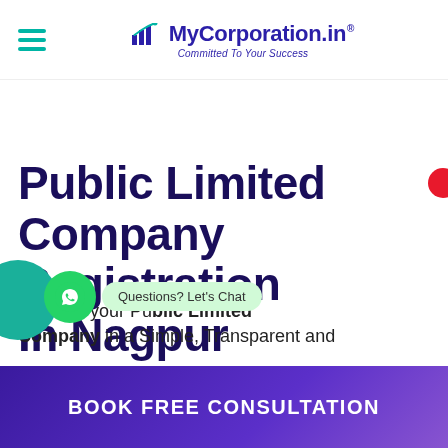MyCorporation.in — Committed To Your Success
Public Limited Company Registration In Nagpur
Register your Public Limited Company in a Simple, Transparent and
Questions? Let's Chat
BOOK FREE CONSULTATION